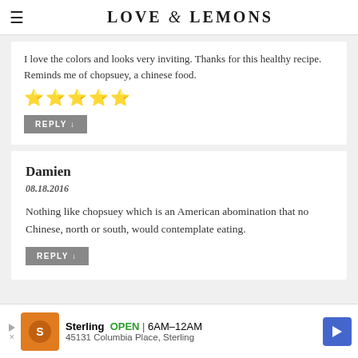LOVE & LEMONS
I love the colors and looks very inviting. Thanks for this healthy recipe. Reminds me of chopsuey, a chinese food. ★★★★★
REPLY ↓
Damien
08.18.2016
Nothing like chopsuey which is an American abomination that no Chinese, north or south, would contemplate eating.
REPLY ↓
[Figure (other): Advertisement banner for Sterling restaurant: OPEN 6AM-12AM, 45131 Columbia Place, Sterling]